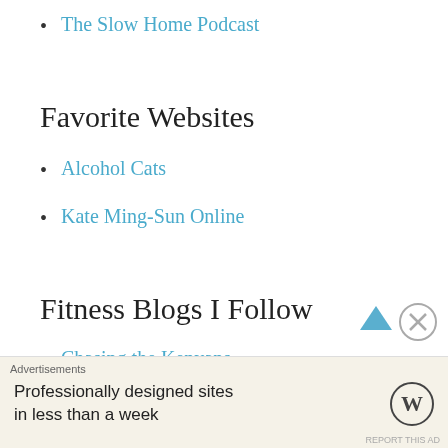The Slow Home Podcast
Favorite Websites
Alcohol Cats
Kate Ming-Sun Online
Fitness Blogs I Follow
Chasing the Kenyans
Advertisements
Professionally designed sites in less than a week